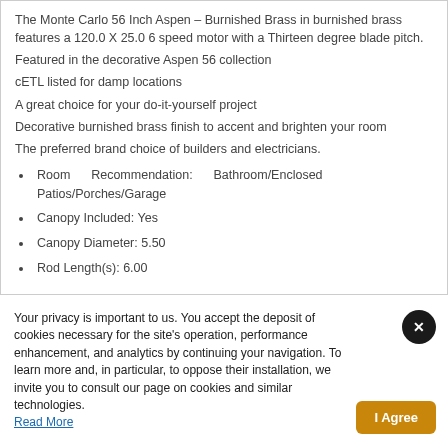The Monte Carlo 56 Inch Aspen - Burnished Brass in burnished brass features a 120.0 X 25.0 6 speed motor with a Thirteen degree blade pitch.
Featured in the decorative Aspen 56 collection
cETL listed for damp locations
A great choice for your do-it-yourself project
Decorative burnished brass finish to accent and brighten your room
The preferred brand choice of builders and electricians.
Room Recommendation: Bathroom/Enclosed Patios/Porches/Garage
Canopy Included: Yes
Canopy Diameter: 5.50
Rod Length(s): 6.00
Your privacy is important to us. You accept the deposit of cookies necessary for the site's operation, performance enhancement, and analytics by continuing your navigation. To learn more and, in particular, to oppose their installation, we invite you to consult our page on cookies and similar technologies. Read More